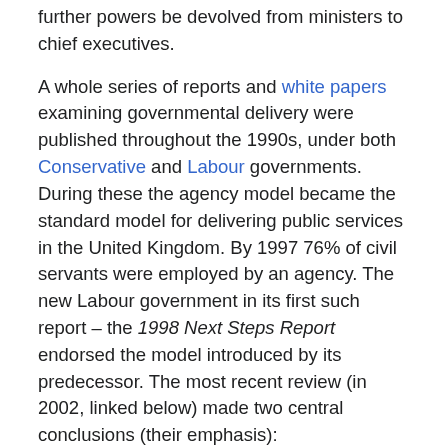further powers be devolved from ministers to chief executives.
A whole series of reports and white papers examining governmental delivery were published throughout the 1990s, under both Conservative and Labour governments. During these the agency model became the standard model for delivering public services in the United Kingdom. By 1997 76% of civil servants were employed by an agency. The new Labour government in its first such report – the 1998 Next Steps Report endorsed the model introduced by its predecessor. The most recent review (in 2002, linked below) made two central conclusions (their emphasis):
"The agency model has been a success. Since 1988 agencies have transformed the landscape of government and the responsive and effectiveness of